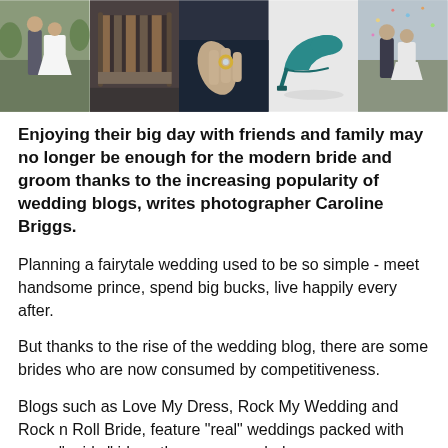[Figure (photo): A horizontal strip of five wedding-related photos: a bride and groom standing outdoors, a striped beach chair, a close-up of hands with a ring, a teal high-heel shoe on a white surface, and a couple in wedding attire outdoors.]
Enjoying their big day with friends and family may no longer be enough for the modern bride and groom thanks to the increasing popularity of wedding blogs, writes photographer Caroline Briggs.
Planning a fairytale wedding used to be so simple - meet handsome prince, spend big bucks, live happily every after.
But thanks to the rise of the wedding blog, there are some brides who are now consumed by competitiveness.
Blogs such as Love My Dress, Rock My Wedding and Rock n Roll Bride, feature "real" weddings packed with more "quirky" ideas than you can shake a paper pom-pom at.
And it means the modern bride is just as likely to